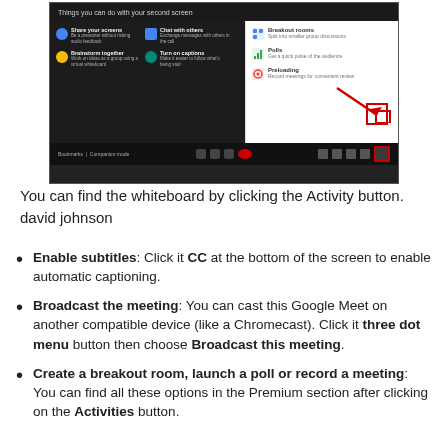[Figure (screenshot): Screenshot of a Google Meet interface showing a dark-themed meeting screen with a 'Things you can do with your second screen' panel on the left displaying options: Share your screens, Chat with others, Brainstorm together, Turn on captions. On the right is a white sidebar showing Breakout rooms, Polls, and Preloading options. A red arrow and red box highlight an Activities button in the bottom bar.]
You can find the whiteboard by clicking the Activity button. david johnson
Enable subtitles: Click it CC at the bottom of the screen to enable automatic captioning.
Broadcast the meeting: You can cast this Google Meet on another compatible device (like a Chromecast). Click it three dot menu button then choose Broadcast this meeting.
Create a breakout room, launch a poll or record a meeting: You can find all these options in the Premium section after clicking on the Activities button.